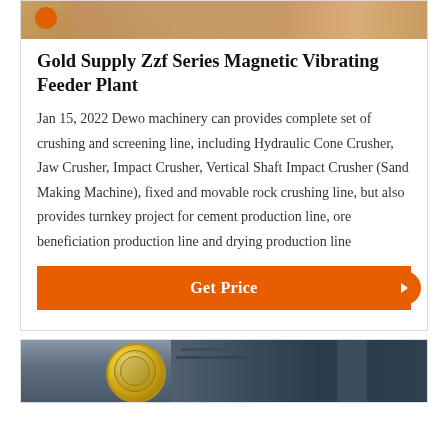[Figure (photo): Top portion of product image showing orange/brown machinery parts on a light surface]
Gold Supply Zzf Series Magnetic Vibrating Feeder Plant
Jan 15, 2022 Dewo machinery can provides complete set of crushing and screening line, including Hydraulic Cone Crusher, Jaw Crusher, Impact Crusher, Vertical Shaft Impact Crusher (Sand Making Machine), fixed and movable rock crushing line, but also provides turnkey project for cement production line, ore beneficiation production line and drying production line
Get Price
[Figure (photo): Bottom product image showing industrial machinery with a large yellow circular component in a factory setting]